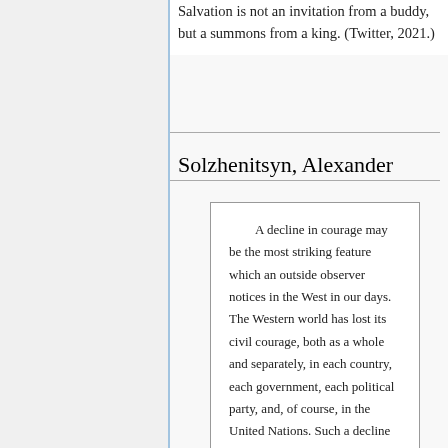Salvation is not an invitation from a buddy, but a summons from a king. (Twitter, 2021.)
Solzhenitsyn, Alexander
A decline in courage may be the most striking feature which an outside observer notices in the West in our days. The Western world has lost its civil courage, both as a whole and separately, in each country, each government, each political party, and, of course, in the United Nations. Such a decline in courage is...